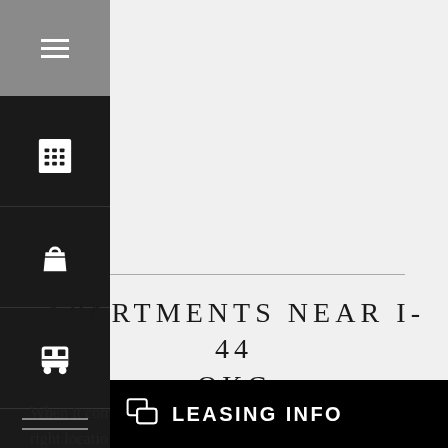[Figure (screenshot): Left sidebar with dark background containing hamburger menu icon at top (gray), building/keypad icon, shopping bag icon, bus icon, and double horizontal line at bottom]
APARTMENTS NEAR I-44 OKC
When it come... finding the right location...
[Figure (infographic): Black bottom bar with chat/leasing icon and text 'LEASING INFO']